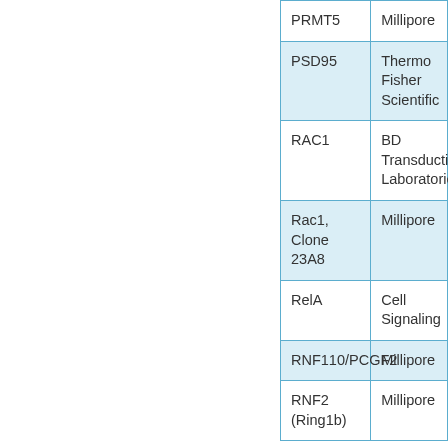| Antibody/Target | Source |
| --- | --- |
| PRMT5 | Millipore |
| PSD95 | Thermo Fisher Scientific |
| RAC1 | BD Transduction Laboratories |
| Rac1, Clone 23A8 | Millipore |
| RelA | Cell Signaling |
| RNF110/PCGF2 | Millipore |
| RNF2 (Ring1b) | Millipore |